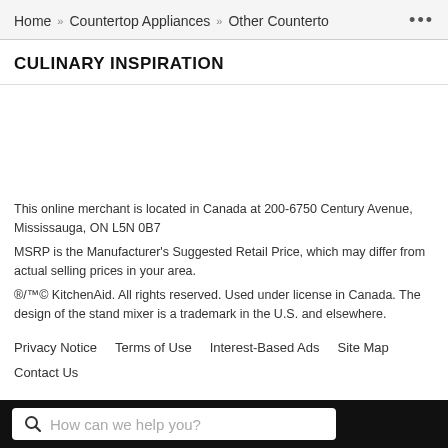Home » Countertop Appliances » Other Counterto ...
CULINARY INSPIRATION
[Figure (other): Empty image/content area for CULINARY INSPIRATION section]
This online merchant is located in Canada at 200-6750 Century Avenue, Mississauga, ON L5N 0B7
MSRP is the Manufacturer's Suggested Retail Price, which may differ from actual selling prices in your area.
®/™© KitchenAid. All rights reserved. Used under license in Canada. The design of the stand mixer is a trademark in the U.S. and elsewhere.
Privacy Notice   Terms of Use   Interest-Based Ads   Site Map   Contact Us
How can we help you?